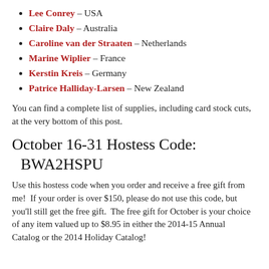Lee Conrey – USA
Claire Daly – Australia
Caroline van der Straaten – Netherlands
Marine Wiplier – France
Kerstin Kreis – Germany
Patrice Halliday-Larsen – New Zealand
You can find a complete list of supplies, including card stock cuts, at the very bottom of this post.
October 16-31 Hostess Code:
 BWA2HSPU
Use this hostess code when you order and receive a free gift from me!  If your order is over $150, please do not use this code, but you'll still get the free gift.  The free gift for October is your choice of any item valued up to $8.95 in either the 2014-15 Annual Catalog or the 2014 Holiday Catalog!